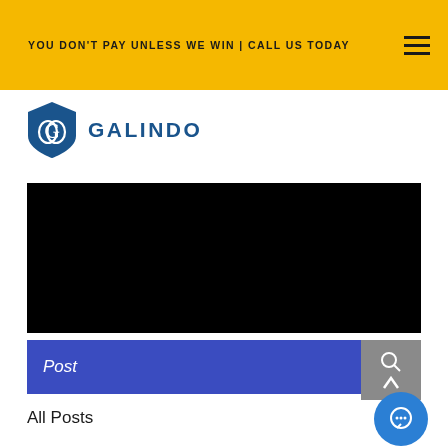YOU DON'T PAY UNLESS WE WIN | CALL US TODAY
[Figure (logo): Galindo law firm shield logo with GG monogram and GALINDO text in blue]
[Figure (other): Black video embed area]
Post
All Posts